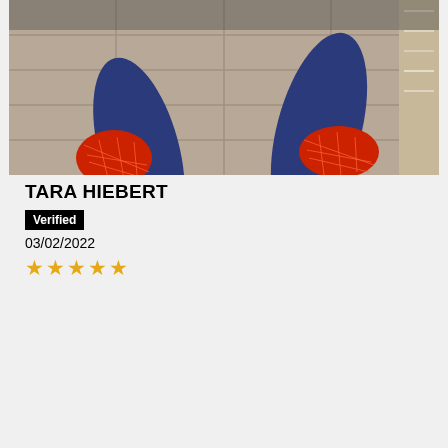[Figure (photo): Photo of someone wearing a Spiderman costume, showing the lower legs and feet with red and blue Spiderman suit detail, on a tiled floor with furniture in background.]
TARA HIEBERT
Verified
03/02/2022
★★★★★
[Figure (illustration): Facebook Messenger blue circle icon]
This website uses cookies to ensure you get the best experience on our website. Learn more
[Figure (logo): Oneherosuits logo - stylized hero emblem]
Chat with Oneherosuits
Hi! How can we help you?